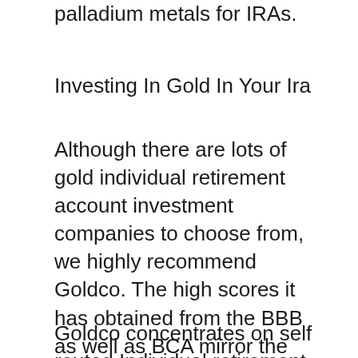palladium metals for IRAs.
Investing In Gold In Your Ira
Although there are lots of gold individual retirement account investment companies to choose from, we highly recommend Goldco. The high scores it has obtained from the BBB as well as BCA mirror the reality that the business is a credible gamer in the financial investment market. This respectable firm has an established background and also is exactly what you ought to search for, if you wish to raise your wide range with silver or gold.
Goldco concentrates on self routed Individual retirement accounts with rare-earth